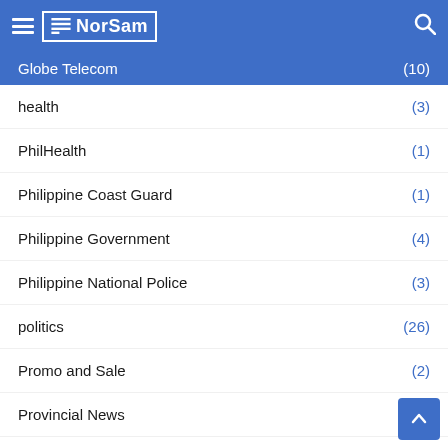NorSam
Globe Telecom (10)
health (3)
PhilHealth (1)
Philippine Coast Guard (1)
Philippine Government (4)
Philippine National Police (3)
politics (26)
Promo and Sale (2)
Provincial News (3)
social worker (1)
sports (2)
Tech News (6...)